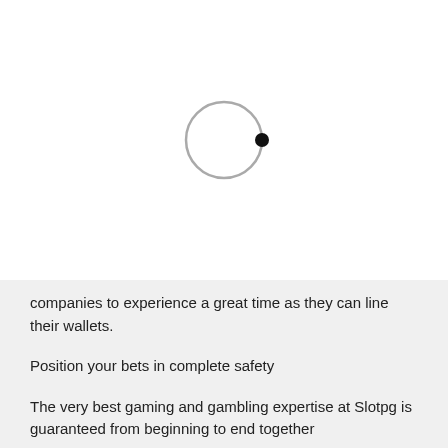[Figure (other): A loading spinner graphic: a gray circle outline with a small black filled circle dot on its right edge, suggesting rotation/loading animation.]
companies to experience a great time as they can line their wallets.
Position your bets in complete safety
The very best gaming and gambling expertise at Slotpg is guaranteed from beginning to end together